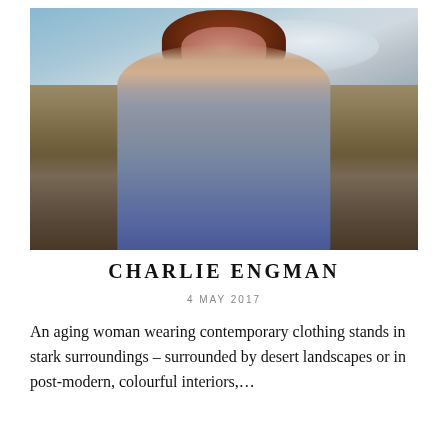[Figure (photo): Portrait of an aging woman with reddish-brown hair wearing a light blue blazer, standing outdoors in a desert badlands landscape with rocky formations and a cloudy sky behind her.]
CHARLIE ENGMAN
4 MAY 2017
An aging woman wearing contemporary clothing stands in stark surroundings – surrounded by desert landscapes or in post-modern, colourful interiors,...